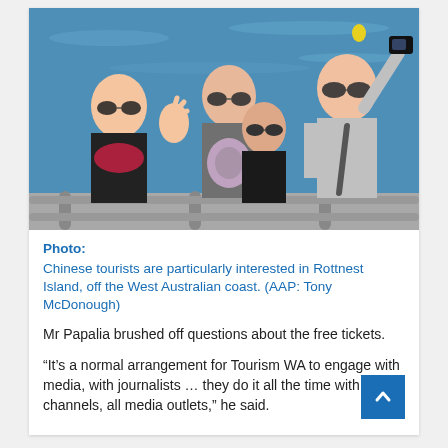[Figure (photo): Group of Chinese tourists taking a selfie on a boat or dock with blue water in the background. One man holds up a camera/phone to take a selfie, a woman waves, another woman holds a bag, and a younger person stands in front. All are wearing sunglasses.]
Photo: Chinese tourists are particularly interested in Rottnest Island, off the West Australian coast. (AAP: Tony McDonough)
Mr Papalia brushed off questions about the free tickets.
“It’s a normal arrangement for Tourism WA to engage with media, with journalists … they do it all the time with all channels, all media outlets,” he said.